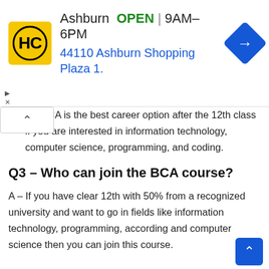[Figure (other): Advertisement banner: HC logo (yellow circle with HC text), Ashburn OPEN 9AM-6PM, 44110 Ashburn Shopping Plaza 1., blue navigation arrow icon]
es, BCA is the best career option after the 12th class if you are interested in information technology, computer science, programming, and coding.
Q3 – Who can join the BCA course?
A – If you have clear 12th with 50% from a recognized university and want to go in fields like information technology, programming, according and computer science then you can join this course.
Q4 – What is BCA's job?
A – Programmer, coder, teacher, professor, consultant, Techn Analyst, Software Administrator, System Manager, Web Developer,